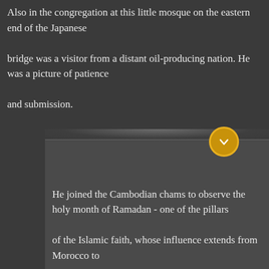Also in the congregation at this little mosque on the eastern end of the Japanese

bridge was a visitor from a distant oil-producing nation. He was a picture of patience

and submission.
He joined the Cambodian chams to observe the holy month of Ramadan - one of the pillars

of the Islamic faith, whose influence extends from Morocco to